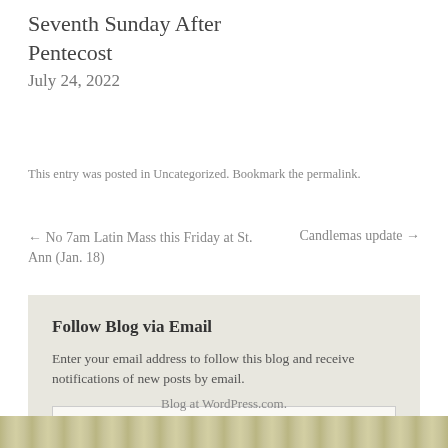Seventh Sunday After Pentecost
July 24, 2022
This entry was posted in Uncategorized. Bookmark the permalink.
← No 7am Latin Mass this Friday at St. Ann (Jan. 18)
Candlemas update →
Follow Blog via Email
Enter your email address to follow this blog and receive notifications of new posts by email.
Blog at WordPress.com.